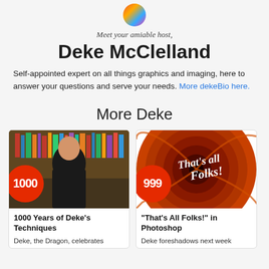[Figure (photo): Small circular avatar/profile image at top center]
Meet your amiable host,
Deke McClelland
Self-appointed expert on all things graphics and imaging, here to answer your questions and serve your needs. More dekeBio here.
More Deke
[Figure (photo): Photo of Deke McClelland standing in front of a bookshelf, with a red badge showing '1000']
1000 Years of Deke's Techniques
Deke, the Dragon, celebrates
[Figure (photo): That's All Folks! Looney Tunes style swirl graphic with a red badge showing '999']
"That's All Folks!" in Photoshop
Deke foreshadows next week